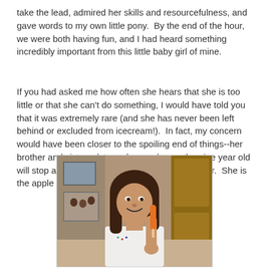take the lead, admired her skills and resourcefulness, and gave words to my own little pony.  By the end of the hour, we were both having fun, and I had heard something incredibly important from this little baby girl of mine.
If you had asked me how often she hears that she is too little or that she can't do something, I would have told you that it was extremely rare (and she has never been left behind or excluded from icecream!).  In fact, my concern would have been closer to the spoiling end of things--her brother and sisters dote on her, and even the nine year old will stop and play ponies or anything else with her.  She is the apple of our eye.
[Figure (photo): A young girl with dark brown shoulder-length hair, smiling, holding up what appears to be an orange popsicle or carrot. She is wearing a white top with colored details. Behind her are family photos and wooden cabinets.]